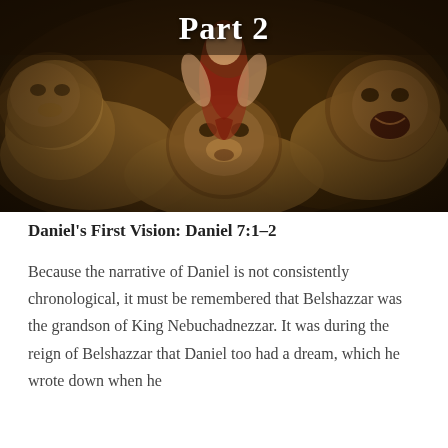[Figure (illustration): Painting of Daniel in the lions' den — a figure in red drapery surrounded by multiple lions in a dark classical painting style. The text 'Part 2' appears in white bold text overlaid at the top center of the painting.]
Part 2
Daniel's First Vision: Daniel 7:1–2
Because the narrative of Daniel is not consistently chronological, it must be remembered that Belshazzar was the grandson of King Nebuchadnezzar. It was during the reign of Belshazzar that Daniel too had a dream, which he wrote down when he